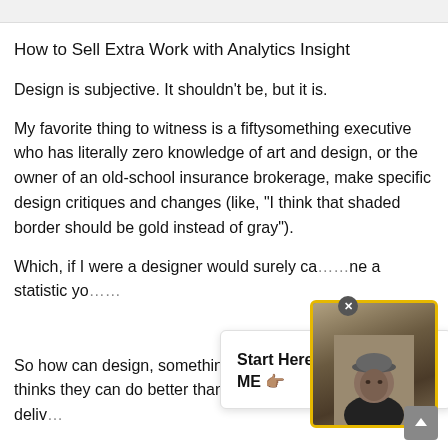How to Sell Extra Work with Analytics Insight
Design is subjective. It shouldn't be, but it is.
My favorite thing to witness is a fiftysomething executive who has literally zero knowledge of art and design, or the owner of an old-school insurance brokerage, make specific design critiques and changes (like, “I think that shaded border should be gold instead of gray”).
Which, if I were a designer would surely ca… ne a statistic yo…
[Figure (screenshot): Popup box with bold text: 'Start Here First! CLICK ME 👉🏽' and a video thumbnail of a man wearing a cap, framed with a yellow/gold border. An X close button appears at the top-left of the video thumbnail.]
So how can design, something so subjecti… t thinks they can do better than your Creative Director, deliv…